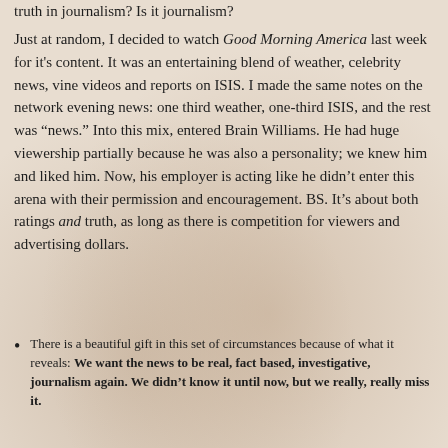truth in journalism? Is it journalism?
Just at random, I decided to watch Good Morning America last week for it's content. It was an entertaining blend of weather, celebrity news, vine videos and reports on ISIS. I made the same notes on the network evening news: one third weather, one-third ISIS, and the rest was “news.” Into this mix, entered Brain Williams. He had huge viewership partially because he was also a personality; we knew him and liked him. Now, his employer is acting like he didn’t enter this arena with their permission and encouragement. BS. It’s about both ratings and truth, as long as there is competition for viewers and advertising dollars.
There is a beautiful gift in this set of circumstances because of what it reveals: We want the news to be real, fact based, investigative, journalism again. We didn’t know it until now, but we really, really miss it.